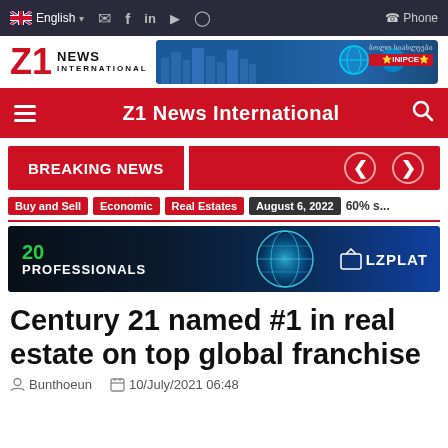English | social icons | Phone
[Figure (logo): Z1 News International logo with red number 21 and NEWS INTERNATIONAL text, alongside a Telegram channel advertisement banner]
Z1 News International navigation bar with hamburger menu and search icon
BREAKING NEWS
Buy and Sell | Economic | Real Estates | August 6, 2022 | 60% s...
[Figure (illustration): 20 PROFESSIONALS advertisement banner with globe graphic and LZPLAT logo on dark blue background]
Century 21 named #1 in real estate on top global franchise
Bunthoeun   10/July/2021 06:48